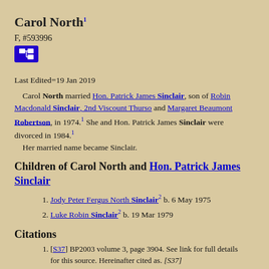Carol North¹
F, #593996
[Figure (other): Blue icon button with family tree/pedigree chart symbol]
Last Edited=19 Jan 2019
Carol North married Hon. Patrick James Sinclair, son of Robin Macdonald Sinclair, 2nd Viscount Thurso and Margaret Beaumont Robertson, in 1974.¹ She and Hon. Patrick James Sinclair were divorced in 1984.¹ Her married name became Sinclair.
Children of Carol North and Hon. Patrick James Sinclair
Jody Peter Fergus North Sinclair² b. 6 May 1975
Luke Robin Sinclair² b. 19 Mar 1979
Citations
[S37] BP2003 volume 3, page 3904. See link for full details for this source. Hereinafter cited as. [S37]